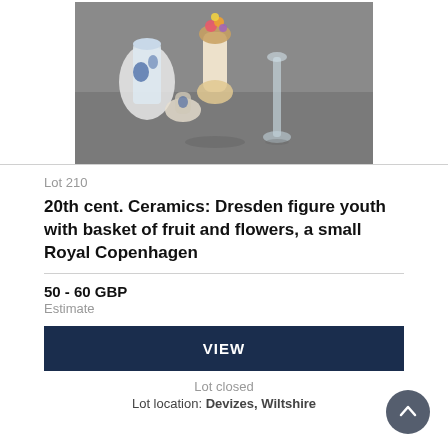[Figure (photo): Photograph of ceramic figurines including a Dresden figure of a youth with a basket of fruit and flowers, a small Royal Copenhagen piece, and a glass candlestick on a grey surface]
Lot 210
20th cent. Ceramics: Dresden figure youth with basket of fruit and flowers, a small Royal Copenhagen
50 - 60 GBP
Estimate
VIEW
Lot closed
Lot location: Devizes, Wiltshire